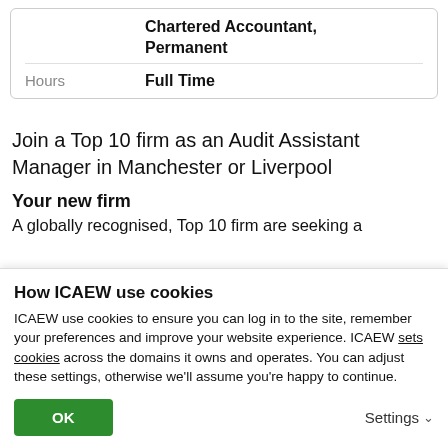|  | Chartered Accountant, Permanent |
| Hours | Full Time |
Join a Top 10 firm as an Audit Assistant Manager in Manchester or Liverpool
Your new firm
A globally recognised, Top 10 firm are seeking a
How ICAEW use cookies
ICAEW use cookies to ensure you can log in to the site, remember your preferences and improve your website experience. ICAEW sets cookies across the domains it owns and operates. You can adjust these settings, otherwise we'll assume you're happy to continue.
OK
Settings